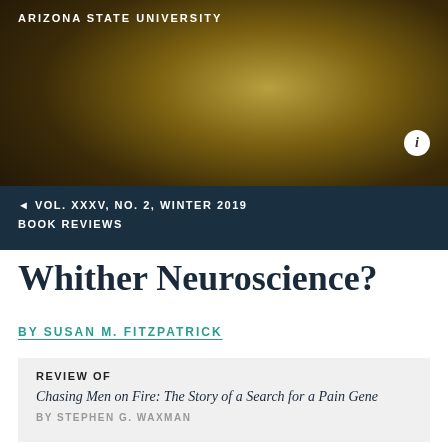ARIZONA STATE UNIVERSITY
VOL. XXXV, NO. 2, WINTER 2019
BOOK REVIEWS
Whither Neuroscience?
BY SUSAN M. FITZPATRICK
REVIEW OF
Chasing Men on Fire: The Story of a Search for a Pain Gene
BY STEPHEN G. WAXMAN